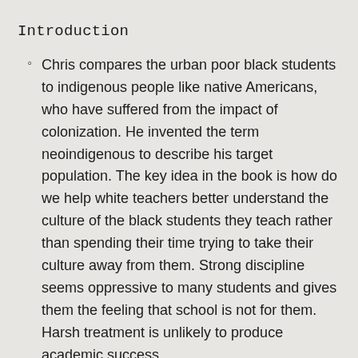Introduction
Chris compares the urban poor black students to indigenous people like native Americans, who have suffered from the impact of colonization. He invented the term neoindigenous to describe his target population. The key idea in the book is how do we help white teachers better understand the culture of the black students they teach rather than spending their time trying to take their culture away from them. Strong discipline seems oppressive to many students and gives them the feeling that school is not for them. Harsh treatment is unlikely to produce academic success.
The behavior students bring can make white